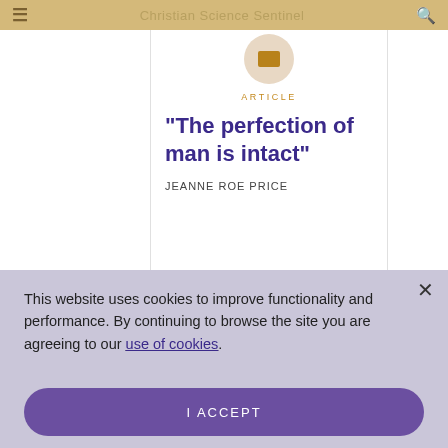Christian Science Sentinel
ARTICLE
"The perfection of man is intact"
JEANNE ROE PRICE
This website uses cookies to improve functionality and performance. By continuing to browse the site you are agreeing to our use of cookies.
I ACCEPT